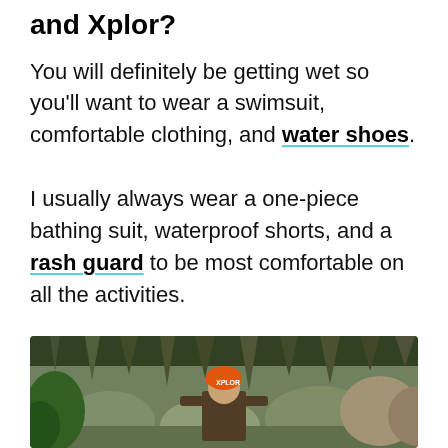and Xplor?
You will definitely be getting wet so you'll want to wear a swimsuit, comfortable clothing, and water shoes.
I usually always wear a one-piece bathing suit, waterproof shorts, and a rash guard to be most comfortable on all the activities.
[Figure (photo): Photo of a person wearing an orange Xplor helmet inside a cave with stalactites and cave formations in the background]